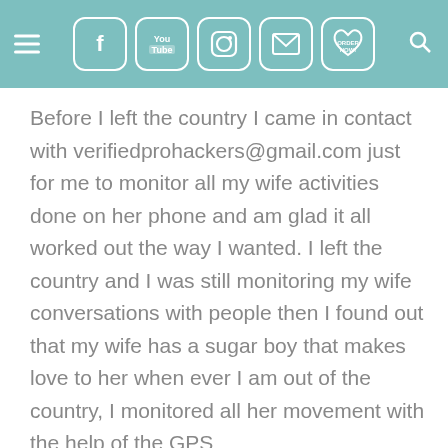[Navigation bar with hamburger menu, social media icons (Facebook, YouTube, Instagram, Email, Order Now), and search icon]
Before I left the country I came in contact with verifiedprohackers@gmail.com just for me to monitor all my wife activities done on her phone and am glad it all worked out the way I wanted. I left the country and I was still monitoring my wife conversations with people then I found out that my wife has a sugar boy that makes love to her when ever I am out of the country, I monitored all her movement with the help of the GPS verifiedprohackers@gmail.com provided along side with the phone